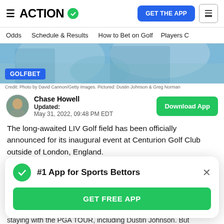ACTION — GET THE APP
Odds   Schedule & Results   How to Bet on Golf   Players C…
[Figure (photo): Photo of golf players signing autographs with GOLFBET badge overlay]
Credit: Photo by David Cannon/Getty Images. Pictured: Dustin Johnson & Greg Norman
Chase Howell
Updated:
May 31, 2022, 09:48 PM EDT
The long-awaited LIV Golf field has been officially announced for its inaugural event at Centurion Golf Club outside of London, England.
With all the controversy surrounding the new tour, there
[Figure (infographic): #1 App for Sports Bettors popup with GET FREE APP button]
staying with the PGA TOUR, including Dustin Johnson. But